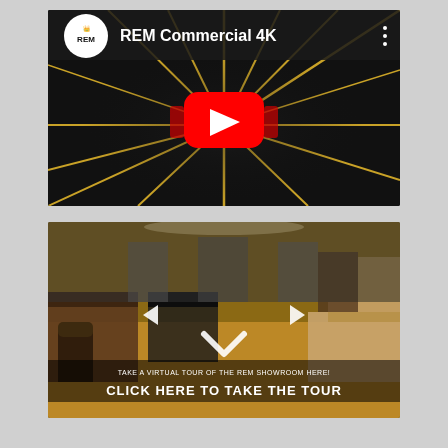[Figure (screenshot): YouTube video thumbnail for 'REM Commercial 4K' showing a dark background with gold starburst lines radiating from center, REM logo in top-left circle, and a red YouTube play button in the center.]
[Figure (screenshot): Virtual tour screenshot of REM showroom interior with salon chairs, styling stations, mirrors, and overlay text: 'TAKE A VIRTUAL TOUR OF THE REM SHOWROOM HERE!' and 'CLICK HERE TO TAKE THE TOUR' with navigation arrows.]